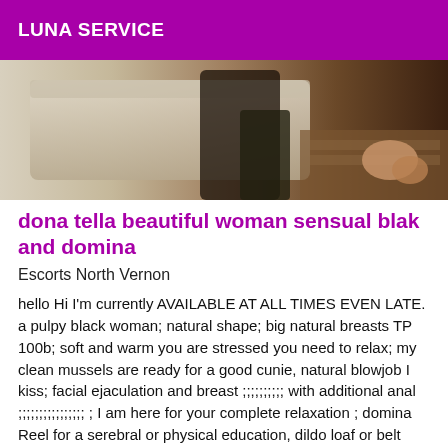LUNA SERVICE
[Figure (photo): Partial photo showing a person near a light-colored sofa with a wooden floor visible]
dona tella beautiful woman sensual blak and domina
Escorts North Vernon
hello Hi I'm currently AVAILABLE AT ALL TIMES EVEN LATE. a pulpy black woman; natural shape; big natural breasts TP 100b; soft and warm you are stressed you need to relax; my clean mussels are ready for a good cunie, natural blowjob I kiss; facial ejaculation and breast ;;;;;;;;;; with additional anal ;;;;;;;;;;;;;;;; ; I am here for your complete relaxation ; domina Reel for a serebral or physical education, dildo loaf or belt dildo, femdom as a slutty whore, facetinking ; anal fist, swift buttocks, total